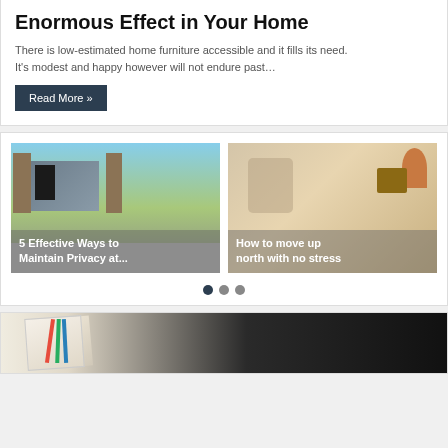Enormous Effect in Your Home
There is low-estimated home furniture accessible and it fills its need. It's modest and happy however will not endure past…
Read More »
[Figure (photo): House with garage door and blue sky]
5 Effective Ways to Maintain Privacy at...
[Figure (photo): Couple sitting on couch with moving boxes]
How to move up north with no stress
[Figure (photo): Architectural floor plans with pencils and tablet]